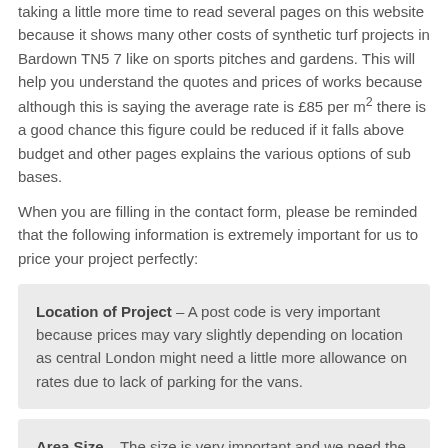taking a little more time to read several pages on this website because it shows many other costs of synthetic turf projects in Bardown TN5 7 like on sports pitches and gardens. This will help you understand the quotes and prices of works because although this is saying the average rate is £85 per m² there is a good chance this figure could be reduced if it falls above budget and other pages explains the various options of sub bases.
When you are filling in the contact form, please be reminded that the following information is extremely important for us to price your project perfectly:
Location of Project – A post code is very important because prices may vary slightly depending on location as central London might need a little more allowance on rates due to lack of parking for the vans.
Area Size – The size is very important and we need the dimensions of the longest point and the widest point to work out what length of carpet we need to purchase.